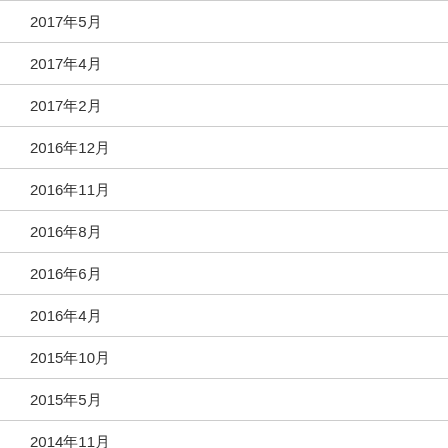2017年5月
2017年4月
2017年2月
2016年12月
2016年11月
2016年8月
2016年6月
2016年4月
2015年10月
2015年5月
2014年11月